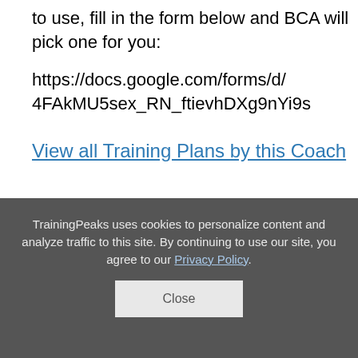to use, fill in the form below and BCA will pick one for you:
https://docs.google.com/forms/d/4FAkMU5sex_RN_ftievhDXg9nYi9...
View all Training Plans by this Coach
TrainingPeaks uses cookies to personalize content and analyze traffic to this site. By continuing to use our site, you agree to our Privacy Policy.
Close